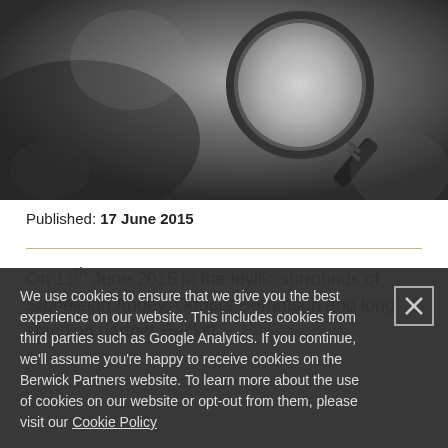[Figure (photo): Black and white photo of a hand holding a magnifying glass against a blurred background]
Published: 17 June 2015
On 11th June 2015 in the idyllic surrounds of Stoneleigh Abbey, Odgers Berndtson and long standing partner Reckitt...
We use cookies to ensure that we give you the best experience on our website. This includes cookies from third parties such as Google Analytics. If you continue, we'll assume you're happy to receive cookies on the Berwick Partners website. To learn more about the use of cookies on our website or opt-out from them, please visit our Cookie Policy